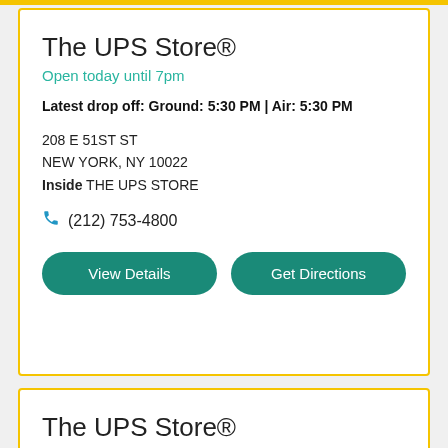The UPS Store®
Open today until 7pm
Latest drop off: Ground: 5:30 PM | Air: 5:30 PM
208 E 51ST ST
NEW YORK, NY 10022
Inside THE UPS STORE
(212) 753-4800
View Details
Get Directions
The UPS Store®
Open today until 7pm
Latest drop off: Ground: 5:00 PM | Air: 5:00 PM